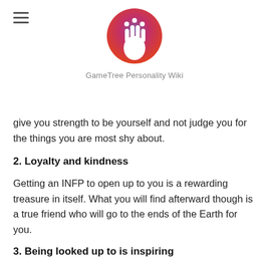[Figure (logo): GameTree Personality Wiki logo — circular icon with hand and symbols on gradient background]
GameTree Personality Wiki
give you strength to be yourself and not judge you for the things you are most shy about.
2. Loyalty and kindness
Getting an INFP to open up to you is a rewarding treasure in itself. What you will find afterward though is a true friend who will go to the ends of the Earth for you.
3. Being looked up to is inspiring
In addition to being non-judgmental towards your negatives, INFPs marvel at your strengths. It is a true confidence booster being admired, a feeling that pushes you to even greater heights.